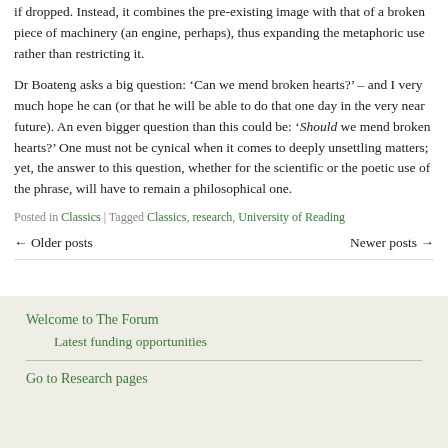if dropped. Instead, it combines the pre-existing image with that of a broken piece of machinery (an engine, perhaps), thus expanding the metaphoric use rather than restricting it.
Dr Boateng asks a big question: ‘Can we mend broken hearts?’ – and I very much hope he can (or that he will be able to do that one day in the very near future). An even bigger question than this could be: ‘Should we mend broken hearts?’ One must not be cynical when it comes to deeply unsettling matters; yet, the answer to this question, whether for the scientific or the poetic use of the phrase, will have to remain a philosophical one.
Posted in Classics | Tagged Classics, research, University of Reading
← Older posts   Newer posts →
Welcome to The Forum
Latest funding opportunities
Go to Research pages